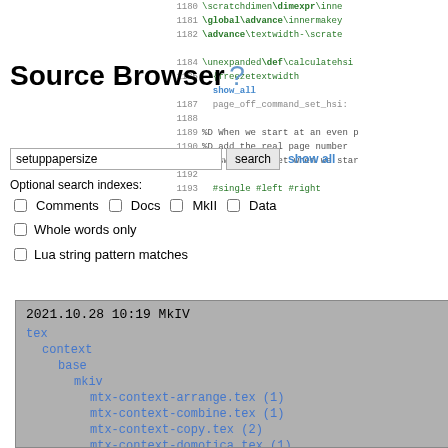Source Browser ?
setuppapersize  search  show all
Optional search indexes:
Comments  Docs  MkII  Data
Whole words only
Lua string pattern matches
[Figure (screenshot): Source browser result panel showing file tree: 2021.10.28 10:19 MkIV, tex > context > base > mkiv with multiple mtx-context-*.tex files]
[Figure (screenshot): Code panel on right showing TeX source lines 1180-1193 with line numbers and syntax highlighting in green]